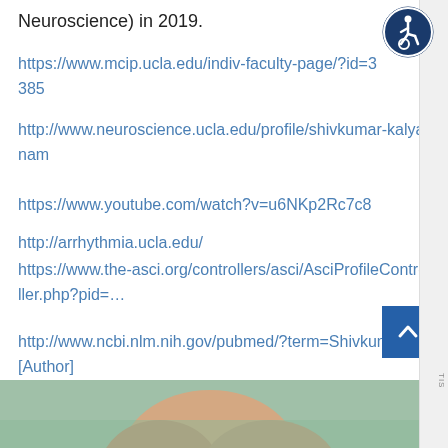Neuroscience) in 2019.
https://www.mcip.ucla.edu/indiv-faculty-page/?id=3385
http://www.neuroscience.ucla.edu/profile/shivkumar-kalyanam
https://www.youtube.com/watch?v=u6NKp2Rc7c8
http://arrhythmia.ucla.edu/
https://www.the-asci.org/controllers/asci/AsciProfileController.php?pid=…
http://www.ncbi.nlm.nih.gov/pubmed/?term=Shivkumar+K[Author]
[Figure (other): Partial face/portrait image at bottom of page, cropped]